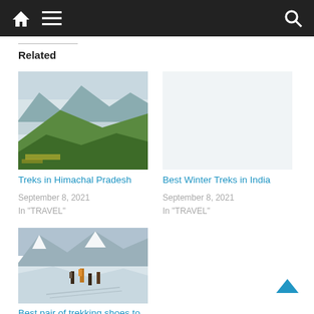Navigation bar with home, menu, and search icons
Related
[Figure (photo): Aerial view of green mountain ridge with valley mist and clouds — Himachal Pradesh landscape]
Treks in Himachal Pradesh
September 8, 2021
In "TRAVEL"
Best Winter Treks in India
September 8, 2021
In "TRAVEL"
[Figure (photo): Trekkers climbing a snow-covered mountain ridge with high peaks in the background]
Best pair of trekking shoes to climb